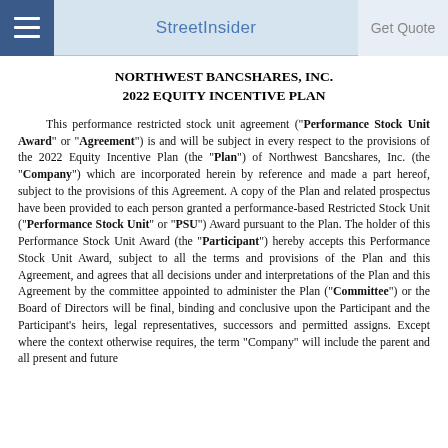StreetInsider  Get Quote
NORTHWEST BANCSHARES, INC.
2022 EQUITY INCENTIVE PLAN
This performance restricted stock unit agreement ("Performance Stock Unit Award" or "Agreement") is and will be subject in every respect to the provisions of the 2022 Equity Incentive Plan (the "Plan") of Northwest Bancshares, Inc. (the "Company") which are incorporated herein by reference and made a part hereof, subject to the provisions of this Agreement. A copy of the Plan and related prospectus have been provided to each person granted a performance-based Restricted Stock Unit ("Performance Stock Unit" or "PSU") Award pursuant to the Plan. The holder of this Performance Stock Unit Award (the "Participant") hereby accepts this Performance Stock Unit Award, subject to all the terms and provisions of the Plan and this Agreement, and agrees that all decisions under and interpretations of the Plan and this Agreement by the committee appointed to administer the Plan ("Committee") or the Board of Directors will be final, binding and conclusive upon the Participant and the Participant’s heirs, legal representatives, successors and permitted assigns. Except where the context otherwise requires, the term “Company” will include the parent and all present and future